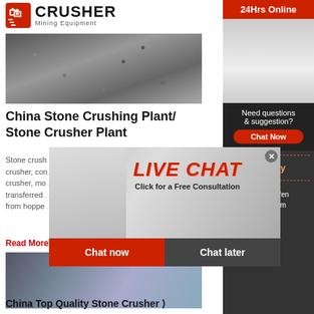[Figure (logo): Crusher Mining Equipment logo with red shopping bag icon and bold CRUSHER text]
[Figure (photo): Pile of crushed stone/gravel aggregate]
China Stone Crushing Plant/ Stone Crusher Plant
Stone crusher plant usually includes jaw crusher, cone crusher, impact crusher, vibrating screen, belt crusher, mobile crusher station. The rock is transferred to stone crusher from the hopper by vibrating feeder.
Read More
[Figure (photo): Live Chat popup overlay with workers in hard hats, LIVE CHAT text in red italic, Chat now and Chat later buttons]
[Figure (photo): Stone crusher machine equipment photo]
China Top Quality Stone Crusher
[Figure (infographic): Right sidebar with 24Hrs Online bar, customer service agent with headset, Need questions & suggestion? text, Chat Now button, Enquiry link, limingjlmofen@sina.com email]